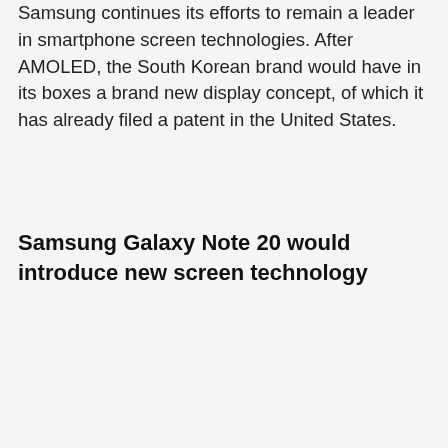Samsung continues its efforts to remain a leader in smartphone screen technologies. After AMOLED, the South Korean brand would have in its boxes a brand new display concept, of which it has already filed a patent in the United States.
Samsung Galaxy Note 20 would introduce new screen technology